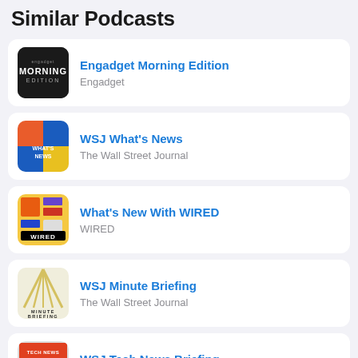Similar Podcasts
Engadget Morning Edition
Engadget
WSJ What's News
The Wall Street Journal
What's New With WIRED
WIRED
WSJ Minute Briefing
The Wall Street Journal
WSJ Tech News Briefing
The Wall Street Journal